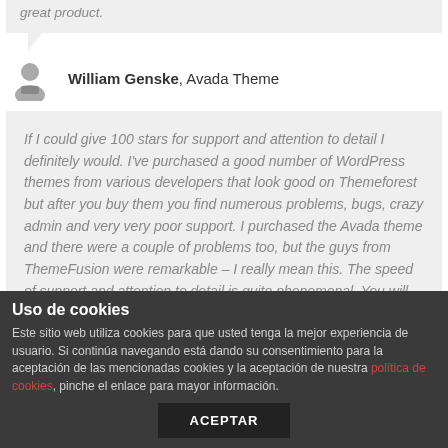great product.
William Genske, Avada Theme
If I could give 100 stars for support and attention to detail I definitely would. I've purchased a good number of WordPress themes from various developers that look good on Themeforest but after you buy them you find numerous problems, bugs, crazy admin and very very poor support. I purchased the Avada theme and there were a couple of problems too, but the guys from ThemeFusion were remarkable – I really mean this. The speed of support and attention to detail is quite phenomenal. You will be extremely pleased
Uso de cookies
Este sitio web utiliza cookies para que usted tenga la mejor experiencia de usuario. Si continúa navegando está dando su consentimiento para la aceptación de las mencionadas cookies y la aceptación de nuestra política de cookies, pinche el enlace para mayor información.
ACEPTAR